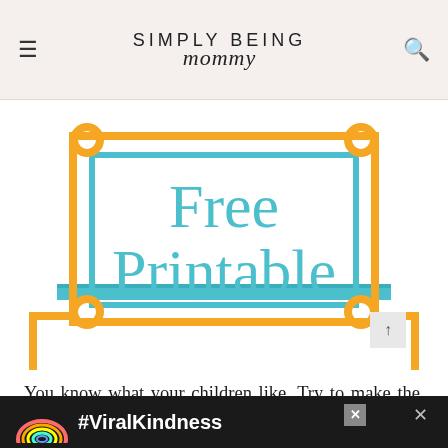SIMPLY BEING mommy
[Figure (illustration): Decorative 'Free Printable' graphic with orange and teal/blue frame border with corner circle ornaments, text reads 'Free Printable' in teal serif font on white background]
You know what your children like. Try to make the rewards something they actually want to work for.
[Figure (infographic): Dark advertisement bar at bottom showing a rainbow graphic and '#ViralKindness' text in white on dark background, with close buttons]